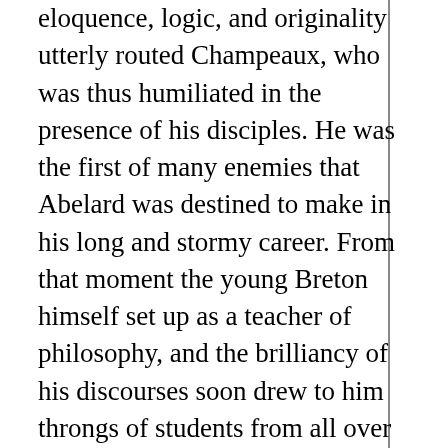eloquence, logic, and originality utterly routed Champeaux, who was thus humiliated in the presence of his disciples. He was the first of many enemies that Abelard was destined to make in his long and stormy career. From that moment the young Breton himself set up as a teacher of philosophy, and the brilliancy of his discourses soon drew to him throngs of students from all over Europe.

Before proceeding with the story of Abelard it is well to reconstruct, however slightly, a picture of the times in which he lived. It was an age when Western Euro...